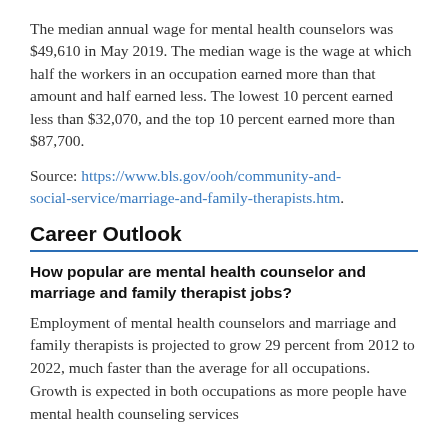The median annual wage for mental health counselors was $49,610 in May 2019. The median wage is the wage at which half the workers in an occupation earned more than that amount and half earned less. The lowest 10 percent earned less than $32,070, and the top 10 percent earned more than $87,700.
Source: https://www.bls.gov/ooh/community-and-social-service/marriage-and-family-therapists.htm.
Career Outlook
How popular are mental health counselor and marriage and family therapist jobs?
Employment of mental health counselors and marriage and family therapists is projected to grow 29 percent from 2012 to 2022, much faster than the average for all occupations. Growth is expected in both occupations as more people have mental health counseling services